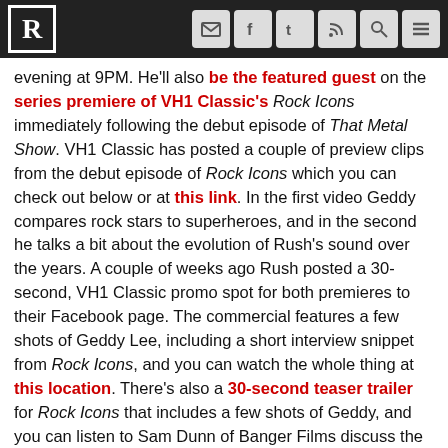R [logo] | email | facebook | twitter | rss | search | menu
evening at 9PM. He'll also be the featured guest on the series premiere of VH1 Classic's Rock Icons immediately following the debut episode of That Metal Show. VH1 Classic has posted a couple of preview clips from the debut episode of Rock Icons which you can check out below or at this link. In the first video Geddy compares rock stars to superheroes, and in the second he talks a bit about the evolution of Rush's sound over the years. A couple of weeks ago Rush posted a 30-second, VH1 Classic promo spot for both premieres to their Facebook page. The commercial features a few shots of Geddy Lee, including a short interview snippet from Rock Icons, and you can watch the whole thing at this location. There's also a 30-second teaser trailer for Rock Icons that includes a few shots of Geddy, and you can listen to Sam Dunn of Banger Films discuss the series in this VH1 interview.